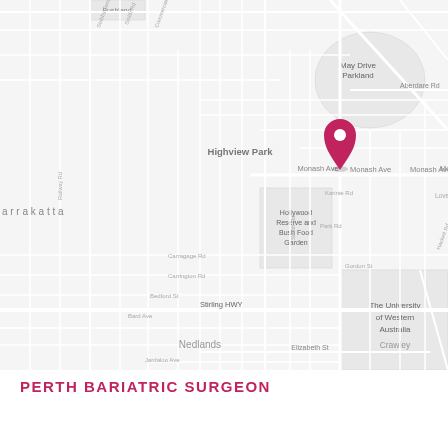[Figure (map): Street map of Nedlands/Crawley area in Perth, Western Australia, showing surrounding suburbs including Karrakatta, Highview Park, Hollywood Reserve and Bush Food Garden, May Drive Parkland, The University of Western Australia Crawley, and Nedlands. A red location pin marker is placed on Monash Ave.]
PERTH BARIATRIC SURGEON